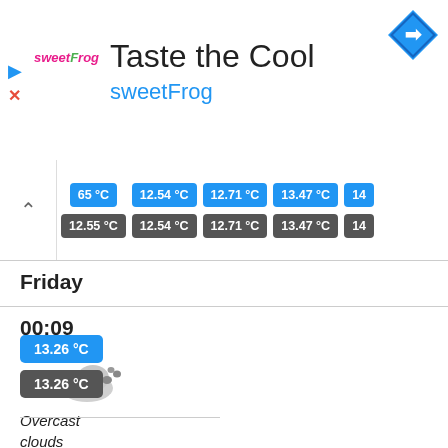[Figure (screenshot): sweetFrog advertisement banner: 'Taste the Cool / sweetFrog' with play and close icons and navigation arrow icon]
65 °C  12.54 °C  12.71 °C  13.47 °C  14...
12.55 °C  12.54 °C  12.71 °C  13.47 °C  14...
Friday
00:09
[Figure (illustration): Overcast cloud weather icon]
Overcast clouds
13.26 °C
13.26 °C